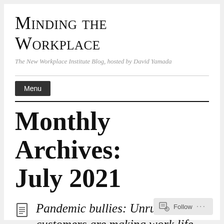Minding the Workplace
The New Workplace Institute Blog, hosted by David Yamada
Monthly Archives: July 2021
Pandemic bullies: Unruly customers are making work life miserable for
Follow